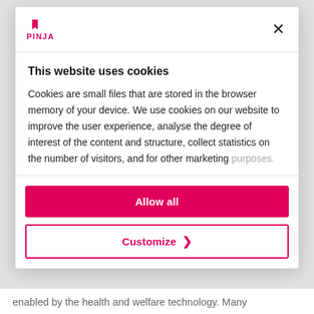[Figure (logo): Pinja logo — red pin/bookmark icon above the word PINJA in red capital letters]
This website uses cookies
Cookies are small files that are stored in the browser memory of your device. We use cookies on our website to improve the user experience, analyse the degree of interest of the content and structure, collect statistics on the number of visitors, and for other marketing purposes.
Allow all
Customize >
enabled by the health and welfare technology. Many